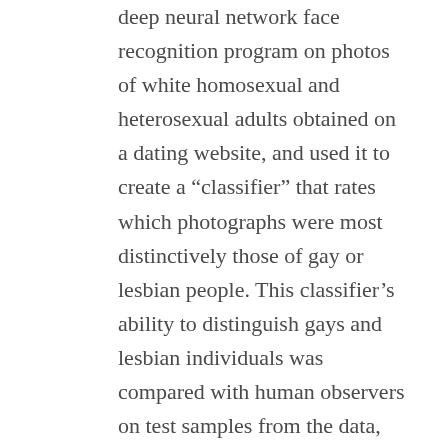deep neural network face recognition program on photos of white homosexual and heterosexual adults obtained on a dating website, and used it to create a “classifier” that rates which photographs were most distinctively those of gay or lesbian people. This classifier’s ability to distinguish gays and lesbian individuals was compared with human observers on test samples from the data, and on Facebook profile pictures with a stated sexual orientation.
This is all a vaguely interesting computer